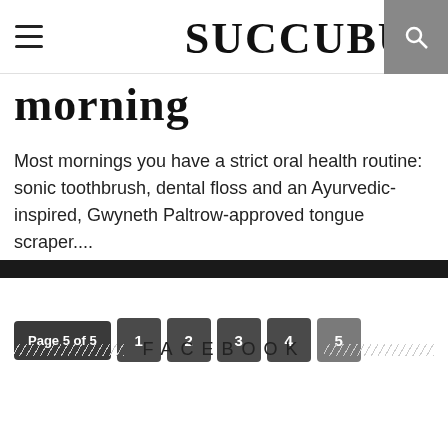SUCCUBUS
morning
Most mornings you have a strict oral health routine: sonic toothbrush, dental floss and an Ayurvedic-inspired, Gwyneth Paltrow-approved tongue scraper....
Page 5 of 5  1  2  3  4  5
FACEBOOK